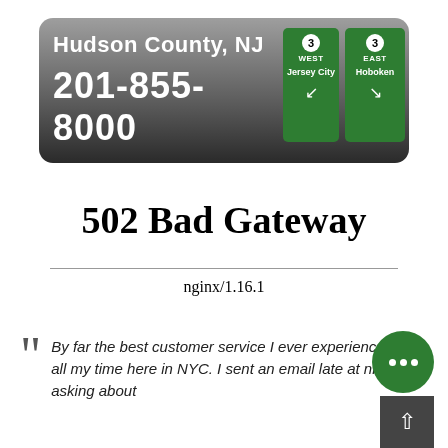[Figure (illustration): Hudson County NJ banner with phone number 201-855-8000 on a grey gradient background, with green highway directional signs showing Route 3 West to Jersey City and Route 3 East to Hoboken]
502 Bad Gateway
nginx/1.16.1
By far the best customer service I ever experienced in all my time here in NYC. I sent an email late at night asking about